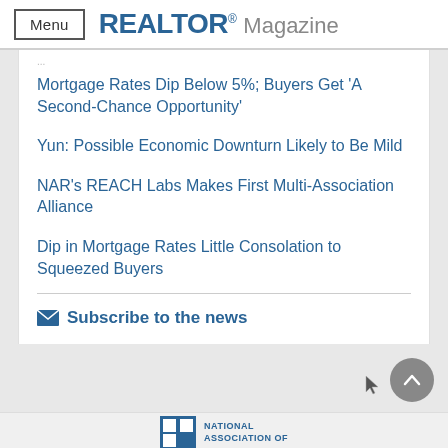Menu | REALTOR® Magazine
Mortgage Rates Dip Below 5%; Buyers Get 'A Second-Chance Opportunity'
Yun: Possible Economic Downturn Likely to Be Mild
NAR's REACH Labs Makes First Multi-Association Alliance
Dip in Mortgage Rates Little Consolation to Squeezed Buyers
Subscribe to the news
[Figure (logo): National Association of Realtors logo at bottom of page]